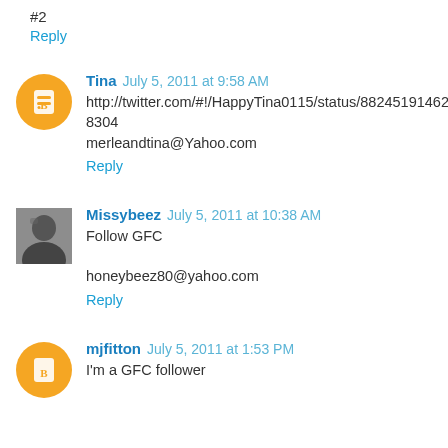#2
Reply
Tina  July 5, 2011 at 9:58 AM
http://twitter.com/#!/HappyTina0115/status/88245191462498304
merleandtina@Yahoo.com
Reply
Missybeez  July 5, 2011 at 10:38 AM
Follow GFC

honeybeez80@yahoo.com
Reply
mjfitton  July 5, 2011 at 1:53 PM
I'm a GFC follower